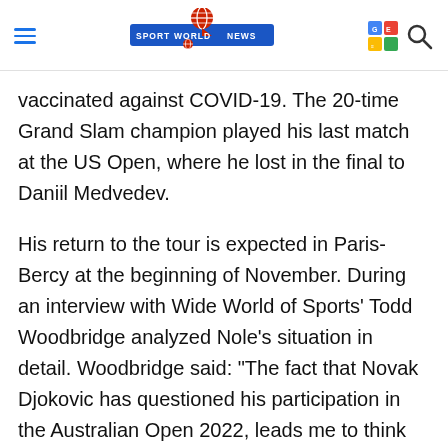Sport World News
vaccinated against COVID-19. The 20-time Grand Slam champion played his last match at the US Open, where he lost in the final to Daniil Medvedev.
His return to the tour is expected in Paris-Bercy at the beginning of November. During an interview with Wide World of Sports' Todd Woodbridge analyzed Nole's situation in detail. Woodbridge said: "The fact that Novak Djokovic has questioned his participation in the Australian Open 2022, leads me to think that he has not yet had the vaccine.